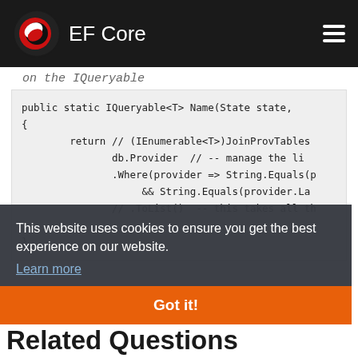EF Core
on the IQueryable
[Figure (screenshot): Code block showing C# method: public static IQueryable<T> Name(State state, { return // (IEnumerable<T>)JoinProvTables db.Provider // -- manage the li .Where(provider => String.Equals(p && String.Equals(provider.La // .ToList() -- this takes all th ; }]
This website uses cookies to ensure you get the best experience on our website. Learn more
Got it!
Related Questions